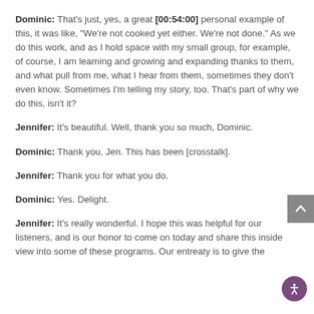Dominic: That's just, yes, a great [00:54:00] personal example of this, it was like, "We're not cooked yet either. We're not done." As we do this work, and as I hold space with my small group, for example, of course, I am learning and growing and expanding thanks to them, and what pull from me, what I hear from them, sometimes they don't even know. Sometimes I'm telling my story, too. That's part of why we do this, isn't it?
Jennifer: It's beautiful. Well, thank you so much, Dominic.
Dominic: Thank you, Jen. This has been [crosstalk].
Jennifer: Thank you for what you do.
Dominic: Yes. Delight.
Jennifer: It's really wonderful. I hope this was helpful for our listeners, and is our honor to come on today and share this inside view into some of these programs. Our entreaty is to give the